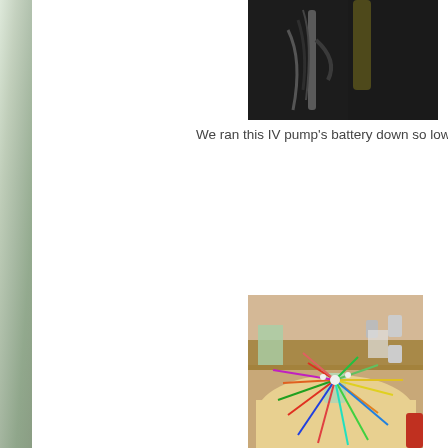[Figure (photo): Photo of an IV pump with cables, partially visible, black background]
We ran this IV pump's battery down so low, it die
[Figure (photo): Photo of a Mikado/Pick-up sticks game on a round table in what appears to be a medical or office setting, colorful sticks splayed out from a central cup]